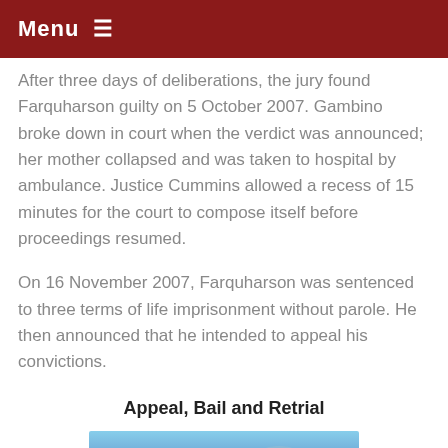Menu ≡
After three days of deliberations, the jury found Farquharson guilty on 5 October 2007. Gambino broke down in court when the verdict was announced; her mother collapsed and was taken to hospital by ambulance. Justice Cummins allowed a recess of 15 minutes for the court to compose itself before proceedings resumed.
On 16 November 2007, Farquharson was sentenced to three terms of life imprisonment without parole. He then announced that he intended to appeal his convictions.
Appeal, Bail and Retrial
[Figure (photo): Partial photo of a person or animal, cropped at bottom of page]